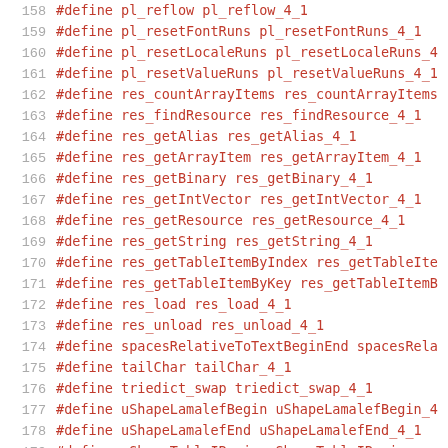158  #define pl_reflow pl_reflow_4_1
159  #define pl_resetFontRuns pl_resetFontRuns_4_1
160  #define pl_resetLocaleRuns pl_resetLocaleRuns_4
161  #define pl_resetValueRuns pl_resetValueRuns_4_1
162  #define res_countArrayItems res_countArrayItems
163  #define res_findResource res_findResource_4_1
164  #define res_getAlias res_getAlias_4_1
165  #define res_getArrayItem res_getArrayItem_4_1
166  #define res_getBinary res_getBinary_4_1
167  #define res_getIntVector res_getIntVector_4_1
168  #define res_getResource res_getResource_4_1
169  #define res_getString res_getString_4_1
170  #define res_getTableItemByIndex res_getTableIte
171  #define res_getTableItemByKey res_getTableItemB
172  #define res_load res_load_4_1
173  #define res_unload res_unload_4_1
174  #define spacesRelativeToTextBeginEnd spacesRela
175  #define tailChar tailChar_4_1
176  #define triedict_swap triedict_swap_4_1
177  #define uShapeLamalefBegin uShapeLamalefBegin_4
178  #define uShapeLamalefEnd uShapeLamalefEnd_4_1
179  #define uShapeTableIBegin uShapeTableIBegin